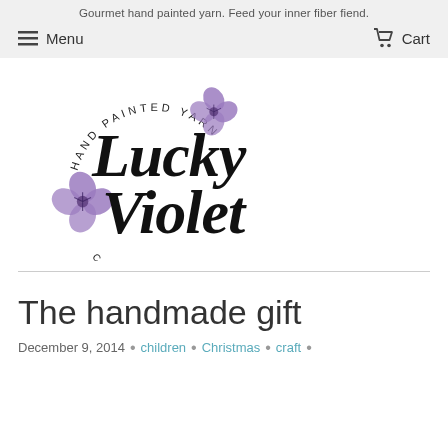Gourmet hand painted yarn. Feed your inner fiber fiend.
Menu   Cart
[Figure (logo): Lucky Violet Color Co. hand painted yarn logo with purple four-leaf clovers and script lettering]
The handmade gift
December 9, 2014  •  children  •  Christmas  •  craft  •